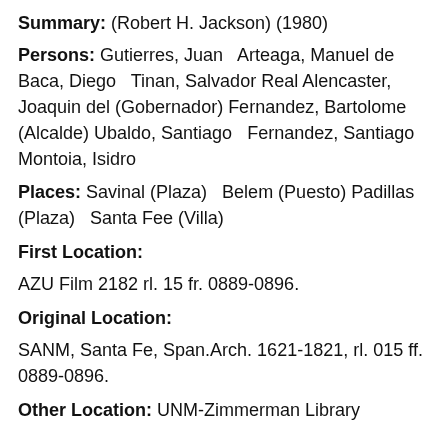Summary: (Robert H. Jackson) (1980)
Persons: Gutierres, Juan   Arteaga, Manuel de Baca, Diego   Tinan, Salvador Real Alencaster, Joaquin del (Gobernador) Fernandez, Bartolome (Alcalde) Ubaldo, Santiago   Fernandez, Santiago Montoia, Isidro
Places: Savinal (Plaza)   Belem (Puesto) Padillas (Plaza)   Santa Fee (Villa)
First Location:
AZU Film 2182 rl. 15 fr. 0889-0896.
Original Location:
SANM, Santa Fe, Span.Arch. 1621-1821, rl. 015 ff. 0889-0896.
Other Location: UNM-Zimmerman Library